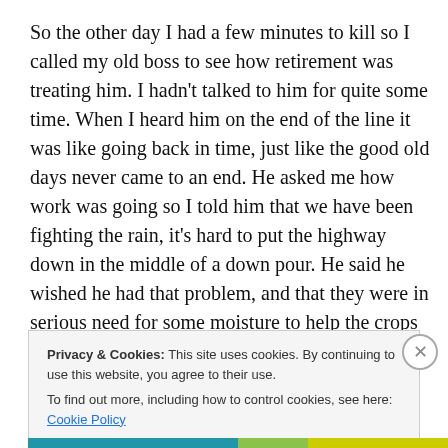So the other day I had a few minutes to kill so I called my old boss to see how retirement was treating him. I hadn't talked to him for quite some time. When I heard him on the end of the line it was like going back in time, just like the good old days never came to an end. He asked me how work was going so I told him that we have been fighting the rain, it's hard to put the highway down in the middle of a down pour. He said he wished he had that problem, and that they were in serious need for some moisture to help the crops out.
Privacy & Cookies: This site uses cookies. By continuing to use this website, you agree to their use.
To find out more, including how to control cookies, see here: Cookie Policy
Close and accept